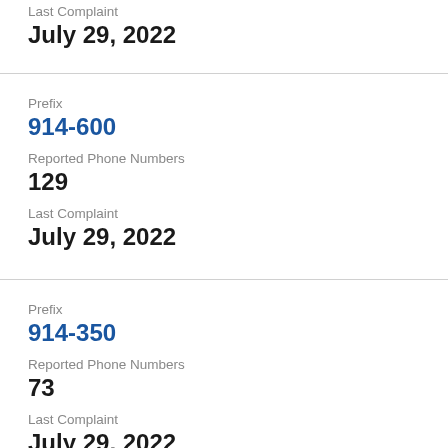Last Complaint
July 29, 2022
Prefix
914-600
Reported Phone Numbers
129
Last Complaint
July 29, 2022
Prefix
914-350
Reported Phone Numbers
73
Last Complaint
July 29, 2022